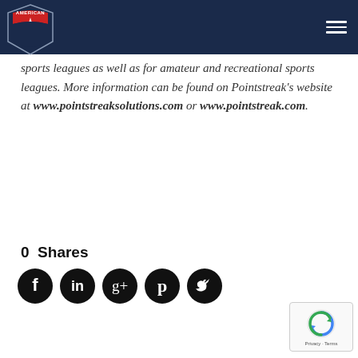American Association logo and navigation
sports leagues as well as for amateur and recreational sports leagues. More information can be found on Pointstreak's website at www.pointstreaksolutions.com or www.pointstreak.com.
0  Shares
[Figure (other): Row of 5 social media icon circles: Facebook, LinkedIn, Google+, Pinterest, Twitter]
[Figure (other): reCAPTCHA badge with Google logo and Privacy - Terms text]